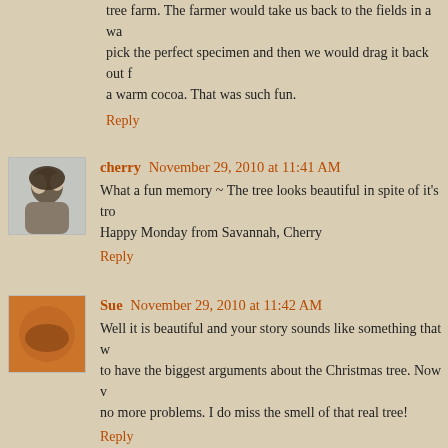We haven't cut our own tree in years. We used to bundle the b... tree farm. The farmer would take us back to the fields in a wa... pick the perfect specimen and then we would drag it back out t... a warm cocoa. That was such fun.
Reply
[Figure (photo): Avatar photo of cherry - person with dark hair]
cherry November 29, 2010 at 11:41 AM
What a fun memory ~ The tree looks beautiful in spite of it's tro... Happy Monday from Savannah, Cherry
Reply
[Figure (photo): Avatar photo of Sue - orange/warm toned image]
Sue November 29, 2010 at 11:42 AM
Well it is beautiful and your story sounds like something that w... to have the biggest arguments about the Christmas tree. Now v... no more problems. I do miss the smell of that real tree!
Reply
[Figure (photo): Avatar photo of Annie Louise - indoor scene]
Annie Louise November 29, 2010 at 12:13 PM
My goodness what an adventure. After all that--the tree still loo...